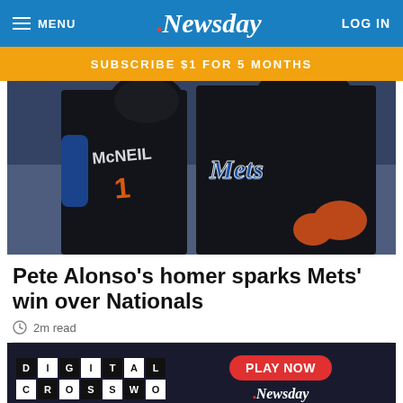MENU | Newsday | LOG IN
SUBSCRIBE $1 FOR 5 MONTHS
[Figure (photo): Two New York Mets baseball players celebrating, one wearing jersey with McNEIL and number 1, the other in a Mets uniform with orange batting gloves]
Pete Alonso's homer sparks Mets' win over Nationals
2m read
[Figure (infographic): Digital Crossword advertisement with checkerboard letter tiles spelling DIGITAL CROSSWORD and a red PLAY NOW button with Newsday logo]